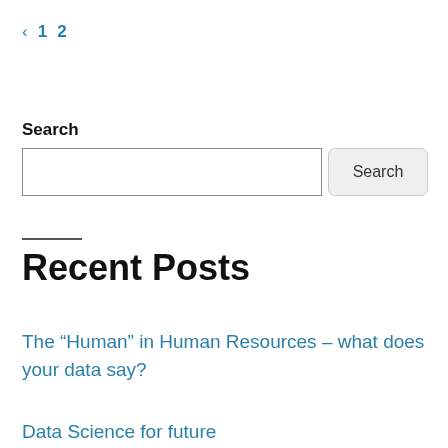< 1 2
Search
[Search input field] [Search button]
Recent Posts
The “Human” in Human Resources – what does your data say?
Data Science for future